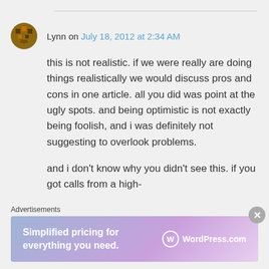Lynn on July 18, 2012 at 2:34 AM
this is not realistic. if we were really are doing things realistically we would discuss pros and cons in one article. all you did was point at the ugly spots. and being optimistic is not exactly being foolish, and i was definitely not suggesting to overlook problems.

and i don't know why you didn't see this. if you got calls from a high-
Advertisements
[Figure (infographic): WordPress.com advertisement banner: 'Simplified pricing for everything you need.' with WordPress logo on gradient purple/blue background]